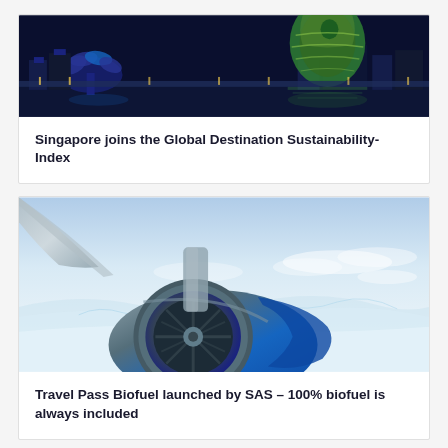[Figure (photo): Night cityscape of Singapore with illuminated green lattice structure and waterfront buildings reflected in water]
Singapore joins the Global Destination Sustainability-Index
[Figure (photo): Aerial view of airplane engine with blue sky and snowy landscape below, shot from aircraft window]
Travel Pass Biofuel launched by SAS – 100% biofuel is always included